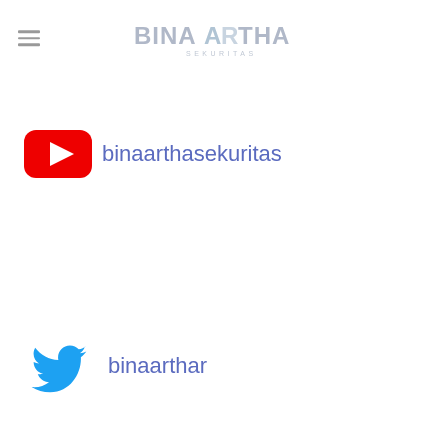[Figure (logo): Binaartha Sekuritas logo with hamburger menu icon on the left]
[Figure (logo): YouTube icon (red rounded rectangle with white play triangle) followed by text 'binaarthasekuritas' in blue-purple]
[Figure (logo): Twitter bird icon in cyan followed by text 'binaarthar' in blue-purple]